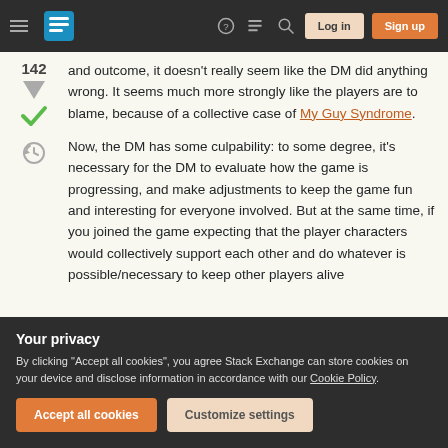Stack Exchange navigation bar with hamburger menu, logo, help, chat, search icons, Log in and Sign up buttons
and outcome, it doesn't really seem like the DM did anything wrong. It seems much more strongly like the players are to blame, because of a collective case of My Guy Syndrome.
Now, the DM has some culpability: to some degree, it's necessary for the DM to evaluate how the game is progressing, and make adjustments to keep the game fun and interesting for everyone involved. But at the same time, if you joined the game expecting that the player characters would collectively support each other and do whatever is possible/necessary to keep other players alive
Your privacy
By clicking "Accept all cookies", you agree Stack Exchange can store cookies on your device and disclose information in accordance with our Cookie Policy.
Accept all cookies   Customize settings